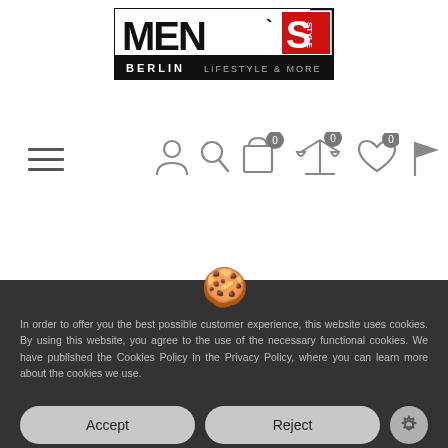[Figure (logo): Men's Style Berlin — Lifestyle & More logo, bold black rectangular lettering with red accent]
[Figure (infographic): Navigation bar with hamburger menu icon on left, and user/search/cart/compare/wishlist/flag icons on right with badge counts of 0]
In order to offer you the best possible customer experience, this website uses cookies. By using this website, you agree to the use of the necessary functional cookies. We have published the Cookies Policy in the Privacy Policy, where you can learn more about the cookies we use.
Accept
Reject